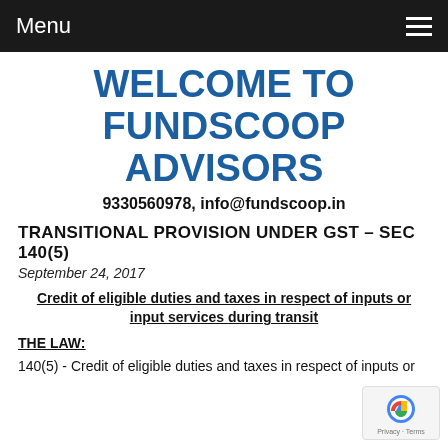Menu
WELCOME TO FUNDSCOOP ADVISORS
9330560978, info@fundscoop.in
TRANSITIONAL PROVISION UNDER GST – SEC 140(5)
September 24, 2017
Credit of eligible duties and taxes in respect of inputs or input services during transit
THE LAW:
140(5) - Credit of eligible duties and taxes in respect of inputs or